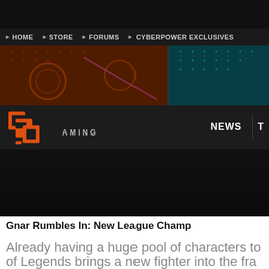HOME  STORE  FORUMS  CYBERPOWER EXCLUSIVES
[Figure (screenshot): CPGaming website banner with dark orange/teal mechanical background imagery]
[Figure (logo): CPG Gaming logo in orange block letters with 'AMING' in gray next to it, on dark background bar. NEWS navigation tab visible on right.]
Gnar Rumbles In: New League Champ
Already having a huge pool of characters to choose from, League of Legends brings a new fighter into the fra